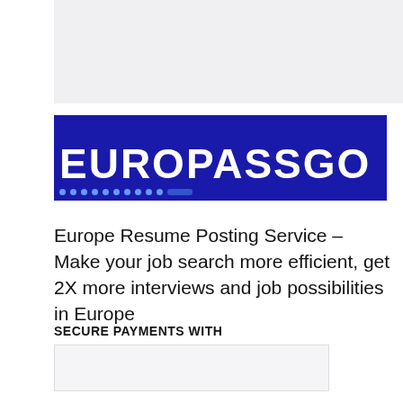[Figure (logo): EUROPASSGO logo — white bold text on dark blue background with decorative dots row at bottom]
Europe Resume Posting Service – Make your job search more efficient, get 2X more interviews and job possibilities in Europe
SECURE PAYMENTS WITH
[Figure (other): Secure payment logos box (light gray rectangle)]